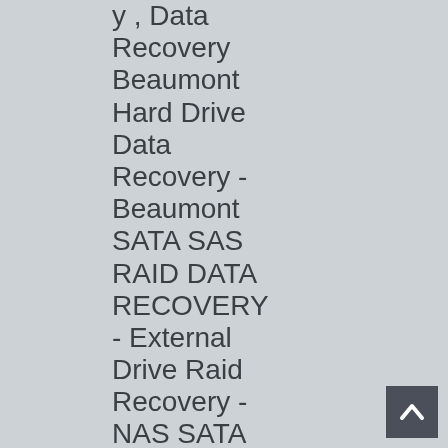y , Data Recovery Beaumont Hard Drive Data Recovery - Beaumont SATA SAS RAID DATA RECOVERY - External Drive Raid Recovery - NAS SATA SAS RAID DATA RECOVERY - Raid Server
[Figure (other): Back to top button - dark gray square with white upward-pointing chevron arrow]